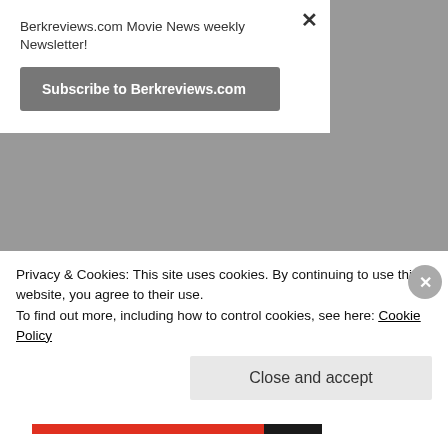Berkreviews.com Movie News weekly Newsletter!
Subscribe to Berkreviews.com
FOLLOW ME ON TWITTER
[Figure (screenshot): Twitter widget showing tweets from @berkreviews with a Follow button. Shows a retweet by Jonathan Berkenfield of a Netflix tweet: Netflix @netflix · 23h — Nothing brings friends together like a]
Privacy & Cookies: This site uses cookies. By continuing to use this website, you agree to their use.
To find out more, including how to control cookies, see here: Cookie Policy
Close and accept